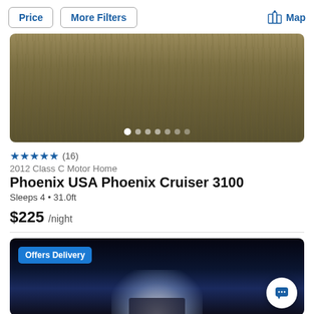Price | More Filters | Map
[Figure (photo): Outdoor grassy area photo used as RV listing thumbnail with navigation dots at bottom]
★★★★★ (16)
2012 Class C Motor Home
Phoenix USA Phoenix Cruiser 3100
Sleeps 4 • 31.0ft
$225 /night
[Figure (photo): Dark night scene of an RV/motor home with bright headlight glow, with an 'Offers Delivery' badge overlay and a chat button]